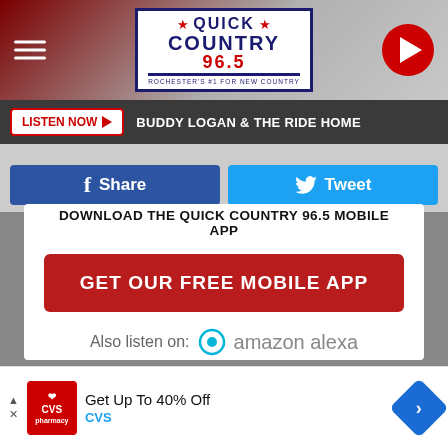Quick Country 96.5 - Rochester's #1 For New Country
LISTEN NOW  BUDDY LOGAN & THE RIDE HOME
Share  Tweet
ROCHESTER'S #1 FOR NEW COUNTRY
DOWNLOAD THE QUICK COUNTRY 96.5 MOBILE APP
GET OUR FREE MOBILE APP
Also listen on:  amazon alexa
Get Up To 40% Off CVS